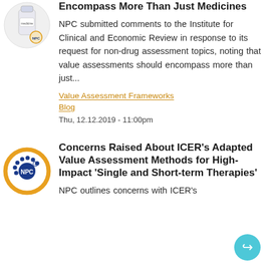[Figure (logo): Circular thumbnail image showing a medicine/pharmacy related product with NPC branding]
Encompass More Than Just Medicines
NPC submitted comments to the Institute for Clinical and Economic Review in response to its request for non-drug assessment topics, noting that value assessments should encompass more than just...
Value Assessment Frameworks
Blog
Thu, 12.12.2019 - 11:00pm
[Figure (logo): NPC circular logo with blue dots and orange border]
Concerns Raised About ICER's Adapted Value Assessment Methods for High-Impact 'Single and Short-term Therapies'
NPC outlines concerns with ICER's